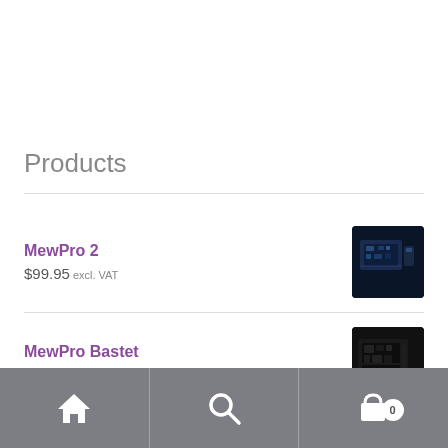Products
MewPro 2
$99.95 excl. VAT
MewPro Bastet
$99.95 excl. VAT
Home | Search | Cart (0)